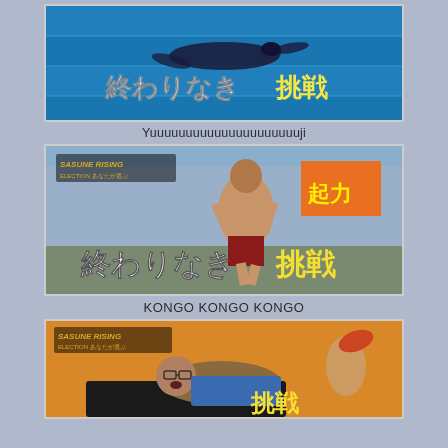[Figure (screenshot): Underwater swimming photo with Japanese text overlay: 終わりなき挑戦 (Endless Challenge) in white/yellow]
Yuuuuuuuuuuuuuuuuuuuuuji
[Figure (screenshot): Sasuke Rising TV show screenshot showing a shirtless muscular man running outdoors, with Japanese text 終わりなき挑戦 and SASUNE RISING logo]
KONGO KONGO KONGO
[Figure (screenshot): Sasuke Rising TV show screenshot showing a man in glasses straining/struggling, with Japanese text overlay 挑戦 partially visible]